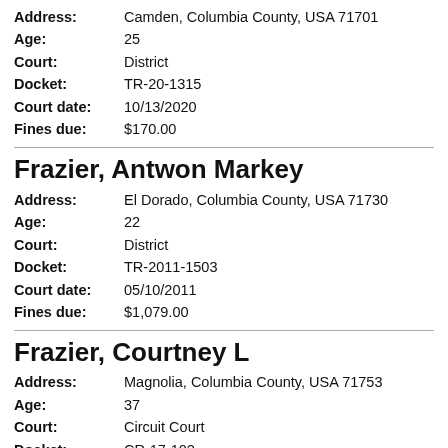Address: Camden, Columbia County, USA 71701
Age: 25
Court: District
Docket: TR-20-1315
Court date: 10/13/2020
Fines due: $170.00
Frazier, Antwon Markey
Address: El Dorado, Columbia County, USA 71730
Age: 22
Court: District
Docket: TR-2011-1503
Court date: 05/10/2011
Fines due: $1,079.00
Frazier, Courtney L
Address: Magnolia, Columbia County, USA 71753
Age: 37
Court: Circuit Court
Docket: CR-17-102
Court date: 06/01/2017